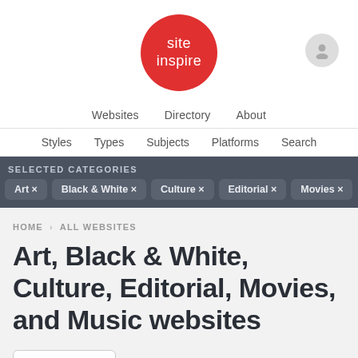[Figure (logo): Site Inspire logo: red circle with white text 'site inspire']
Websites  Directory  About
Styles  Types  Subjects  Platforms  Search
SELECTED CATEGORIES
Art ×
Black & White ×
Culture ×
Editorial ×
Movies ×
Music ×
HOME › ALL WEBSITES
Art, Black & White, Culture, Editorial, Movies, and Music websites
Submit Website